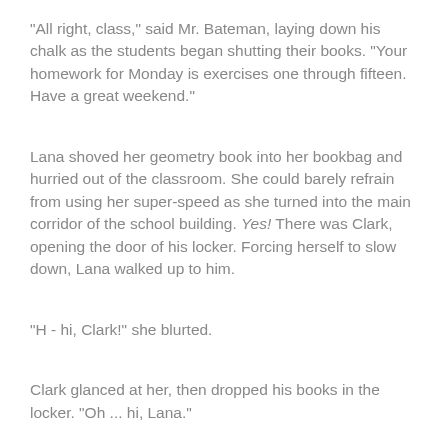"All right, class," said Mr. Bateman, laying down his chalk as the students began shutting their books. "Your homework for Monday is exercises one through fifteen. Have a great weekend."
Lana shoved her geometry book into her bookbag and hurried out of the classroom. She could barely refrain from using her super-speed as she turned into the main corridor of the school building. Yes! There was Clark, opening the door of his locker. Forcing herself to slow down, Lana walked up to him.
"H - hi, Clark!" she blurted.
Clark glanced at her, then dropped his books in the locker. "Oh ... hi, Lana."